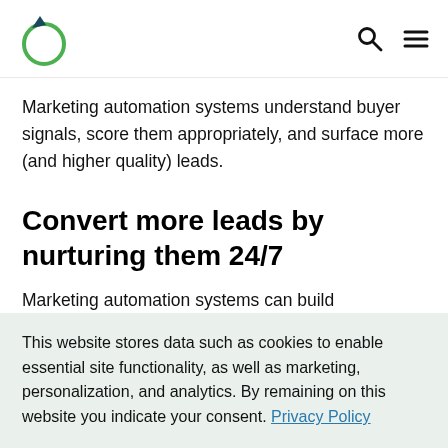[Logo] [Search icon] [Menu icon]
Marketing automation systems understand buyer signals, score them appropriately, and surface more (and higher quality) leads.
Convert more leads by nurturing them 24/7
Marketing automation systems can build
This website stores data such as cookies to enable essential site functionality, as well as marketing, personalization, and analytics. By remaining on this website you indicate your consent. Privacy Policy